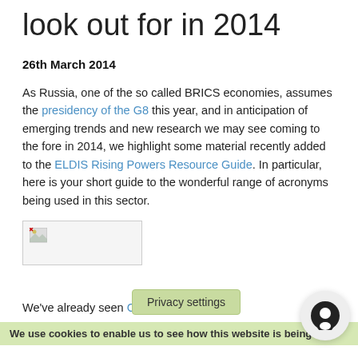look out for in 2014
26th March 2014
As Russia, one of the so called BRICS economies, assumes the presidency of the G8 this year, and in anticipation of emerging trends and new research we may see coming to the fore in 2014, we highlight some material recently added to the ELDIS Rising Powers Resource Guide. In particular, here is your short guide to the wonderful range of acronyms being used in this sector.
[Figure (photo): Broken image placeholder thumbnail]
We've already seen C[...] in the emergin[g...]
Privacy settings
We use cookies to enable us to see how this website is being